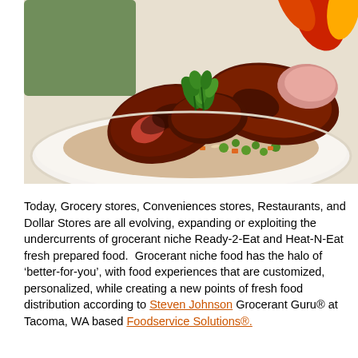[Figure (photo): A plated dish of barbecued/grilled meat pieces (ribs or short ribs) garnished with fresh green herbs (parsley), served on a bed of rice with peas and diced carrots/vegetables, on a white plate. Colorful peppers visible in the background.]
Today, Grocery stores, Conveniences stores, Restaurants, and Dollar Stores are all evolving, expanding or exploiting the undercurrents of grocerant niche Ready-2-Eat and Heat-N-Eat fresh prepared food. Grocerant niche food has the halo of 'better-for-you', with food experiences that are customized, personalized, while creating a new points of fresh food distribution according to Steven Johnson Grocerant Guru® at Tacoma, WA based Foodservice Solutions®.